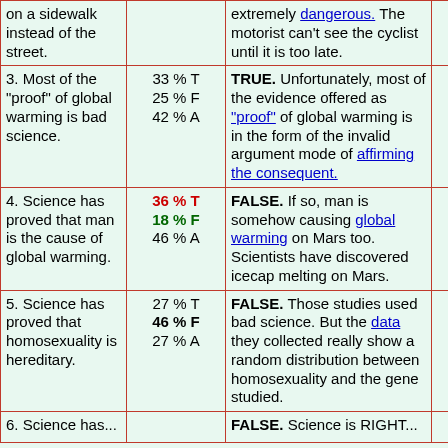| Statement | Poll % | Answer | Correct % |
| --- | --- | --- | --- |
| on a sidewalk instead of the street. |  | extremely dangerous. The motorist can't see the cyclist until it is too late. |  |
| 3. Most of the "proof" of global warming is bad science. | 33 % T
25 % F
42 % A | TRUE. Unfortunately, most of the evidence offered as "proof" of global warming is in the form of the invalid argument mode of affirming the consequent. | 43 % |
| 4. Science has proved that man is the cause of global warming. | 36 % T
18 % F
46 % A | FALSE. If so, man is somehow causing global warming on Mars too. Scientists have discovered icecap melting on Mars. | 67 % |
| 5. Science has proved that homosexuality is hereditary. | 27 % T
46 % F
27 % A | FALSE. Those studies used bad science. But the data they collected really show a random distribution between homosexuality and the gene studied. | 38 % |